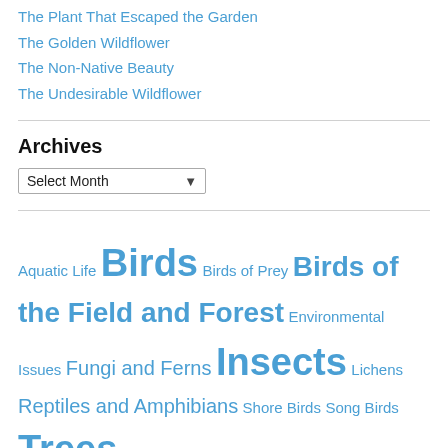The Plant That Escaped the Garden
The Golden Wildflower
The Non-Native Beauty
The Undesirable Wildflower
Archives
Select Month
Aquatic Life Birds Birds of Prey Birds of the Field and Forest Environmental Issues Fungi and Ferns Insects Lichens Reptiles and Amphibians Shore Birds Song Birds Trees